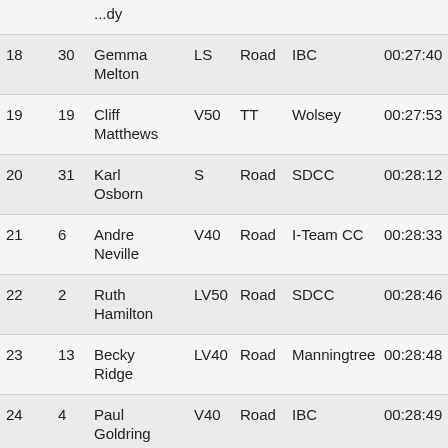| Pos | No | Name | Cat | Bike | Club | Time |  |
| --- | --- | --- | --- | --- | --- | --- | --- |
|  |  | ...dy |  |  |  |  |  |
| 18 | 30 | Gemma Melton | LS | Road | IBC | 00:27:40 |  |
| 19 | 19 | Cliff Matthews | V50 | TT | Wolsey | 00:27:53 |  |
| 20 | 31 | Karl Osborn | S | Road | SDCC | 00:28:12 |  |
| 21 | 6 | Andre Neville | V40 | Road | I-Team CC | 00:28:33 |  |
| 22 | 2 | Ruth Hamilton | LV50 | Road | SDCC | 00:28:46 |  |
| 23 | 13 | Becky Ridge | LV40 | Road | Manningtree | 00:28:48 |  |
| 24 | 4 | Paul Goldring | V40 | Road | IBC | 00:28:49 |  |
| 25 | 9 | Adrian Ilott | V50 | Road | Wolsey | 00:28:53 |  |
| 26 | 20 | Andy | V50 | TT | Wolsey | 00:28:58 |  |